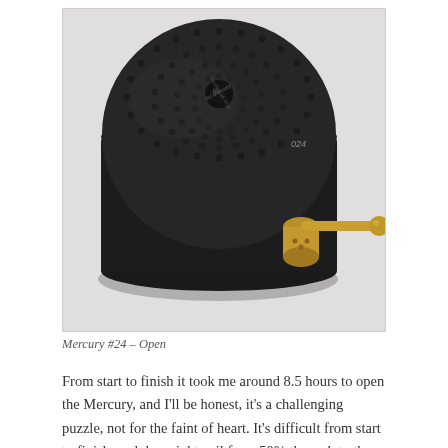[Figure (photo): A circular black metal puzzle disc (Mercury #24) with rows of small spherical indentations on its top surface, a central hole, and engraved text around it. Next to it sits a brass key-like tool with a ball end, resting on a white background.]
Mercury #24 – Open
From start to finish it took me around 8.5 hours to open the Mercury, and I'll be honest, it's a challenging puzzle, not for the faint of heart. It's difficult from start to finish, and darn right evil from 50% through to the end. I'd even go so far as